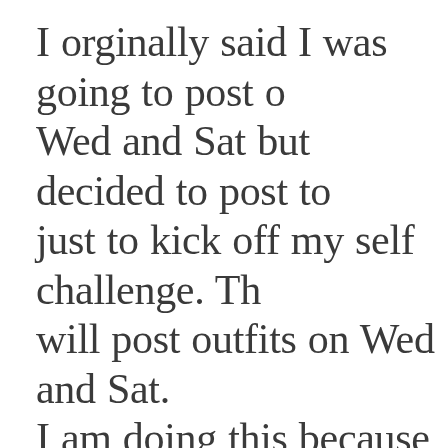I orginally said I was going to post on Wed and Sat but decided to post today just to kick off my self challenge. The will post outfits on Wed and Sat. I am doing this because I feel like I a in a rut. I have clothes just need to m things up. Also I know I have holes a need to identify them. Spring and summer are long here so I want to a to my wardrobe but in a deliberate